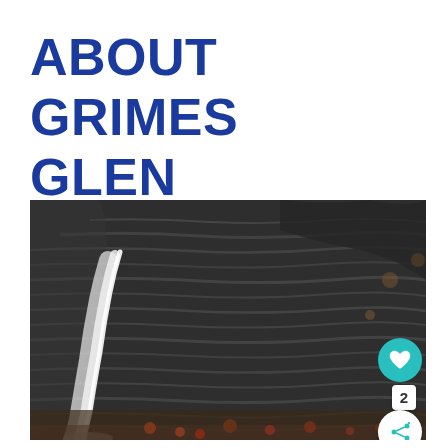ABOUT GRIMES GLEN
[Figure (photo): A waterfall cascading down layered dark rock face at Grimes Glen, with autumn leaves visible at the bottom. The rock wall shows distinctive horizontal stratification layers. A social interaction overlay shows a teal heart button with '2' count and a share button.]